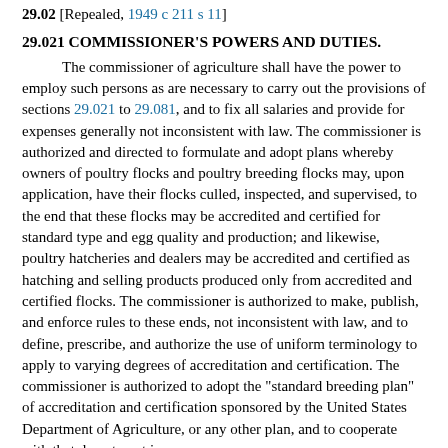29.02 [Repealed, 1949 c 211 s 11]
29.021 COMMISSIONER'S POWERS AND DUTIES.
The commissioner of agriculture shall have the power to employ such persons as are necessary to carry out the provisions of sections 29.021 to 29.081, and to fix all salaries and provide for expenses generally not inconsistent with law. The commissioner is authorized and directed to formulate and adopt plans whereby owners of poultry flocks and poultry breeding flocks may, upon application, have their flocks culled, inspected, and supervised, to the end that these flocks may be accredited and certified for standard type and egg quality and production; and likewise, poultry hatcheries and dealers may be accredited and certified as hatching and selling products produced only from accredited and certified flocks. The commissioner is authorized to make, publish, and enforce rules to these ends, not inconsistent with law, and to define, prescribe, and authorize the use of uniform terminology to apply to varying degrees of accreditation and certification. The commissioner is authorized to adopt the "standard breeding plan" of accreditation and certification sponsored by the United States Department of Agriculture, or any other plan, and to cooperate with that department in